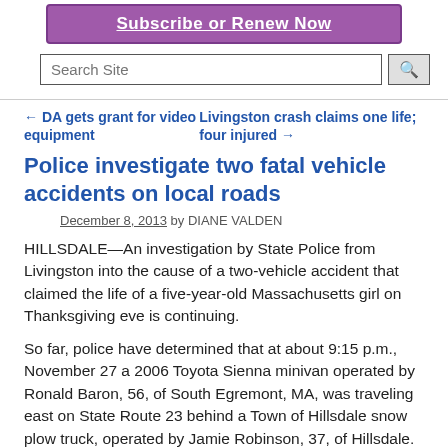[Figure (screenshot): Purple subscribe banner button with white underlined text 'Subscribe or Renew Now']
[Figure (screenshot): Search Site input box with magnifying glass search button]
← DA gets grant for video equipment
Livingston crash claims one life; four injured →
Police investigate two fatal vehicle accidents on local roads
December 8, 2013 by DIANE VALDEN
HILLSDALE—An investigation by State Police from Livingston into the cause of a two-vehicle accident that claimed the life of a five-year-old Massachusetts girl on Thanksgiving eve is continuing.
So far, police have determined that at about 9:15 p.m., November 27 a 2006 Toyota Sienna minivan operated by Ronald Baron, 56, of South Egremont, MA, was traveling east on State Route 23 behind a Town of Hillsdale snow plow truck, operated by Jamie Robinson, 37, of Hillsdale. The truck...